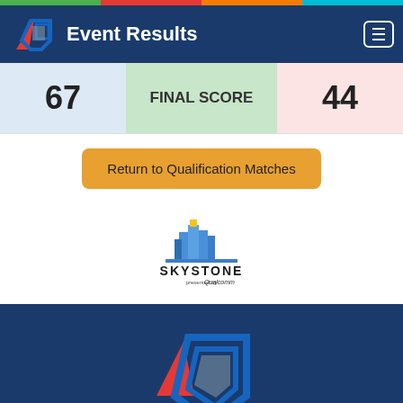Event Results
| Score Left | Label | Score Right |
| --- | --- | --- |
| 67 | FINAL SCORE | 44 |
Return to Qualification Matches
[Figure (logo): SKYSTONE presented by Qualcomm logo]
[Figure (logo): FIRST Tech Challenge logo]
Copyright © FIRST Tech Challenge
Privacy & Legal